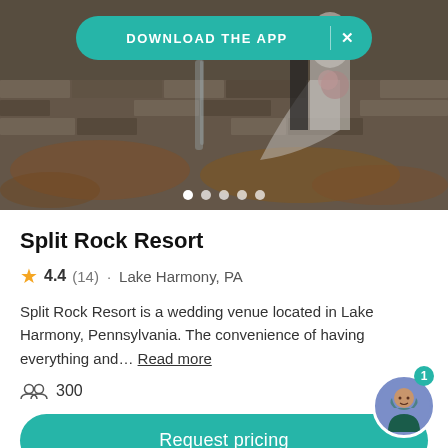[Figure (photo): Wedding couple standing in front of a stone wall with autumn leaves and a small waterfall. Overlaid with a teal 'DOWNLOAD THE APP' banner with an X close button at the top, and carousel navigation dots at the bottom.]
Split Rock Resort
4.4 (14) · Lake Harmony, PA
Split Rock Resort is a wedding venue located in Lake Harmony, Pennsylvania. The convenience of having everything and... Read more
300
Request pricing